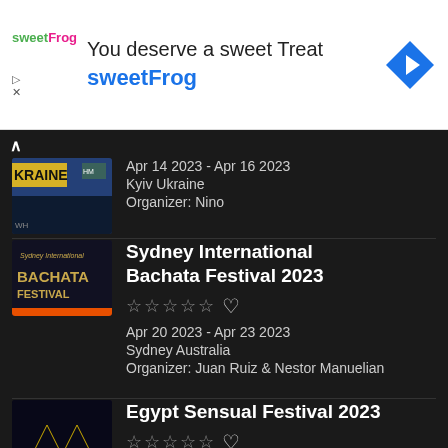[Figure (infographic): SweetFrog advertisement banner with logo, 'You deserve a sweet Treat' headline, sweetFrog brand name in blue, and a blue navigation arrow diamond icon]
KRAINE
Apr 14 2023 - Apr 16 2023
Kyiv Ukraine
Organizer: Nino
Sydney International Bachata Festival 2023
Apr 20 2023 - Apr 23 2023
Sydney Australia
Organizer: Juan Ruiz & Nestor Manuelian
Egypt Sensual Festival 2023
Apr 23 2023 - Apr 30 2023
Hurghada Egypt